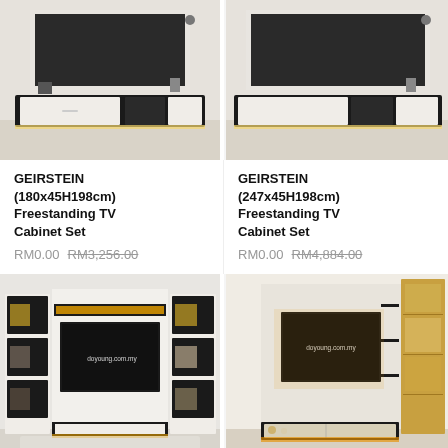[Figure (photo): GEIRSTEIN 180x45H198cm Freestanding TV Cabinet Set product photo - white and black modern TV unit]
[Figure (photo): GEIRSTEIN 247x45H198cm Freestanding TV Cabinet Set product photo - white and black modern TV unit]
GEIRSTEIN (180x45H198cm) Freestanding TV Cabinet Set
RM0.00 RM3,256.00
GEIRSTEIN (247x45H198cm) Freestanding TV Cabinet Set
RM0.00 RM4,884.00
[Figure (photo): Large white and black freestanding TV cabinet set with side shelving units and LED lighting, doyoung.com.my watermark]
[Figure (photo): Wood-tone and cream freestanding TV cabinet set with side shelving and LED lighting, doyoung.com.my watermark]